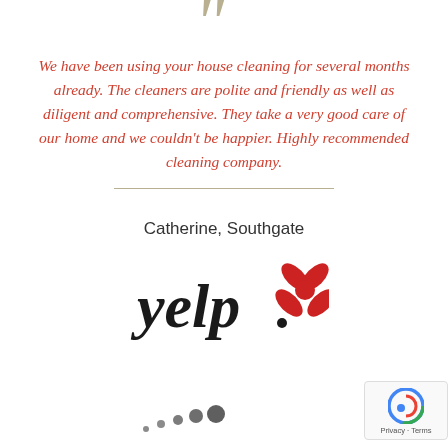[Figure (illustration): Large decorative open quotation marks in olive/tan color]
We have been using your house cleaning for several months already. The cleaners are polite and friendly as well as diligent and comprehensive. They take a very good care of our home and we couldn't be happier. Highly recommended cleaning company.
Catherine, Southgate
[Figure (logo): Yelp logo — black cursive 'yelp' text with red burst/star icon]
[Figure (logo): Partially visible logo at bottom with grey dots pattern (Homeadvisor or similar)]